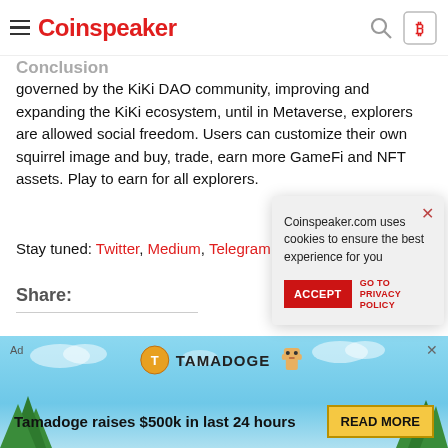Coinspeaker
Conclusion
governed by the KiKi DAO community, improving and expanding the KiKi ecosystem, until in Metaverse, explorers are allowed social freedom. Users can customize their own squirrel image and buy, trade, earn more GameFi and NFT assets. Play to earn for all explorers.
Stay tuned: Twitter, Medium, Telegram.
Share:
[Figure (screenshot): Cookie consent popup: 'Coinspeaker.com uses cookies to ensure the best experience for you' with ACCEPT button and GO TO PRIVACY POLICY link]
[Figure (logo): Telegram subscribe icon with Subscribe text]
[Figure (infographic): Tamadoge ad banner: 'Tamadoge raises $500k in last 24 hours' with READ MORE button and Tamadoge logo]